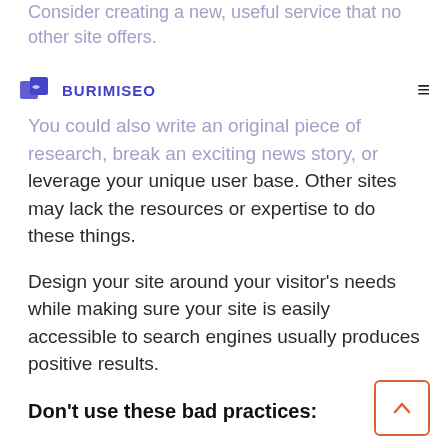Consider creating a new, useful service that no other site offers.
BURIMISEO
You could also write an original piece of research, break an exciting news story, or leverage your unique user base. Other sites may lack the resources or expertise to do these things.
Design your site around your visitor's needs while making sure your site is easily accessible to search engines usually produces positive results.
Don't use these bad practices:
1. Inserting numerous unnecessary keywords aimed at search engines but are annoying or nonsensical to users